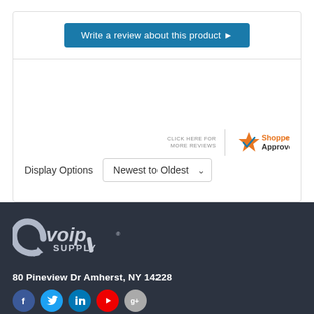[Figure (screenshot): Write a review about this product button (blue rounded button with right arrow)]
[Figure (logo): Shopper Approved badge with star logo and text CLICK HERE FOR MORE REVIEWS]
Display Options   Newest to Oldest
[Figure (logo): VoIP Supply logo in white/grey on dark background]
80 Pineview Dr Amherst, NY 14228
[Figure (infographic): Social media icons row: Facebook (blue), Twitter (light blue), LinkedIn (blue), YouTube (red), Google+ (grey)]